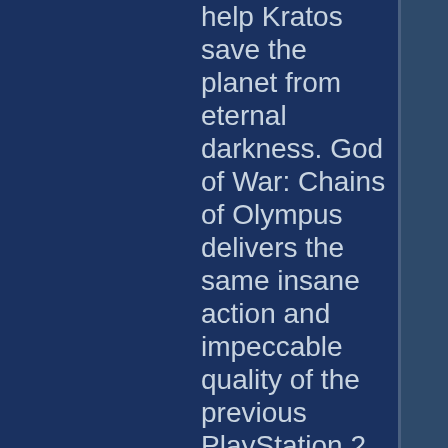help Kratos save the planet from eternal darkness. God of War: Chains of Olympus delivers the same insane action and impeccable quality of the previous PlayStation 2 editions, and that is an accomplishment